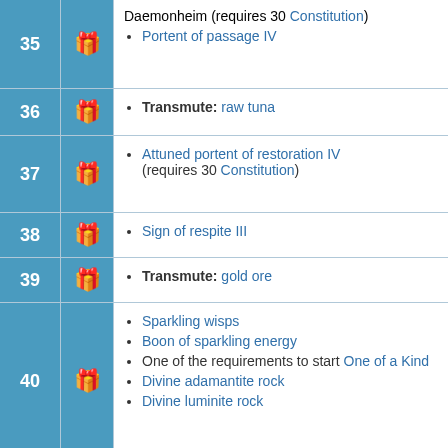| Level | Icon | Unlocks |
| --- | --- | --- |
| 35 |  | Daemonheim (requires 30 Constitution)
• Portent of passage IV |
| 36 |  | • Transmute: raw tuna |
| 37 |  | • Attuned portent of restoration IV (requires 30 Constitution) |
| 38 |  | • Sign of respite III |
| 39 |  | • Transmute: gold ore |
| 40 |  | • Sparkling wisps
• Boon of sparkling energy
• One of the requirements to start One of a Kind
• Divine adamantite rock
• Divine luminite rock |